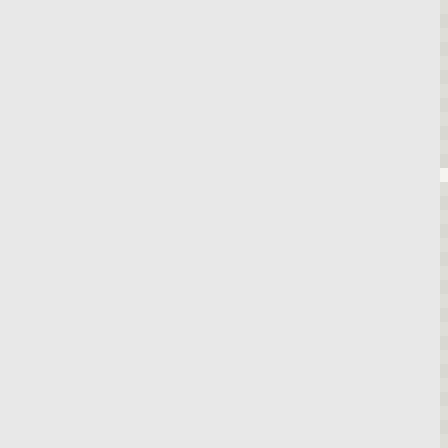[Figure (screenshot): Source code viewer showing shell script lines 3725-3756 with line numbers on left, code on right. Code includes bash conditionals, echo statements with string arguments, mail, printf, cd, and comments in German.]